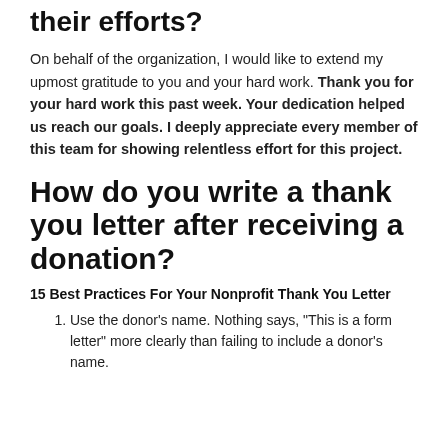How do you thank the team for their efforts?
On behalf of the organization, I would like to extend my upmost gratitude to you and your hard work. Thank you for your hard work this past week. Your dedication helped us reach our goals. I deeply appreciate every member of this team for showing relentless effort for this project.
How do you write a thank you letter after receiving a donation?
15 Best Practices For Your Nonprofit Thank You Letter
Use the donor's name. Nothing says, "This is a form letter" more clearly than failing to include a donor's name.